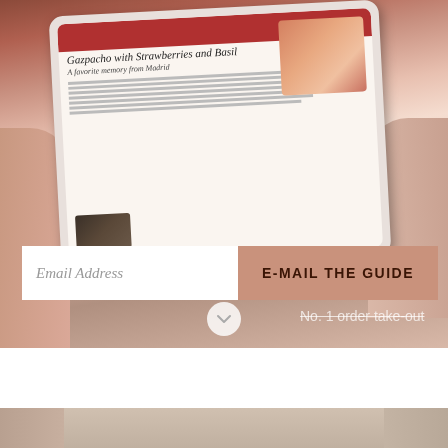[Figure (screenshot): A person holding a tablet/iPad displaying a recipe page titled 'Gazpacho with Strawberries and Basil' with subtitle 'A favorite memory from Madrid'. Below the tablet image is an email signup bar with an 'Email Address' placeholder and 'E-MAIL THE GUIDE' button. A downward chevron arrow and strikethrough text 'No. 1 order take-out' appear below. The bottom portion shows a white section and the start of another photo.]
Email Address
E-MAIL THE GUIDE
No. 1 order take-out